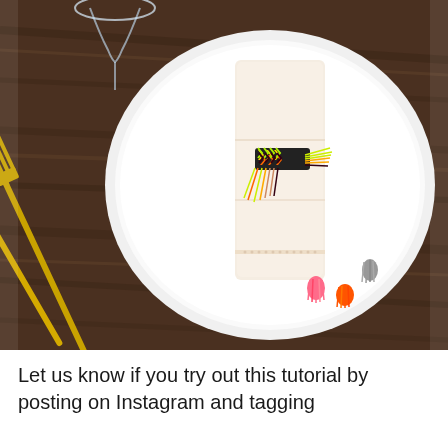[Figure (photo): Top-down view of a table setting on dark wood surface. A white plate sits in the center with a cream linen napkin folded and held by a colorful chevron-patterned friendship bracelet napkin ring with tassels in neon yellow, orange, pink, and dark colors. Two gold forks rest to the left of the plate, and a clear wine glass stem is visible in the upper left corner. The napkin has pink and coral mini tassels along its edge.]
Let us know if you try out this tutorial by posting on Instagram and tagging